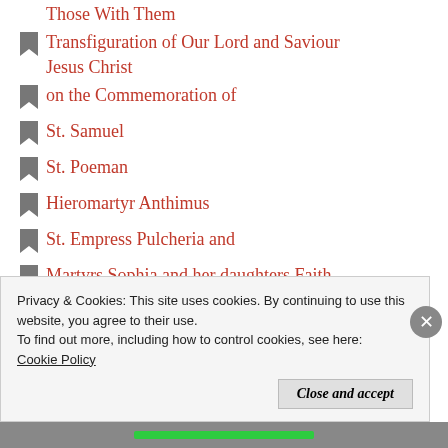Those With Them
Transfiguration of Our Lord and Saviour Jesus Christ
on the Commemoration of
St. Samuel
St. Poeman
Hieromartyr Anthimus
St. Empress Pulcheria and
Martyrs Sophia and her daughters Faith, Hope and Love
ProtoMartyr Thekla Equal-to-the-Apostles
Protection of the Theotokos
Privacy & Cookies: This site uses cookies. By continuing to use this website, you agree to their use.
To find out more, including how to control cookies, see here: Cookie Policy
Close and accept